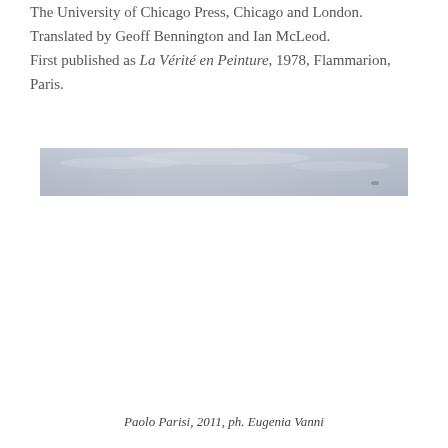The University of Chicago Press, Chicago and London. Translated by Geoff Bennington and Ian McLeod. First published as La Vérité en Peinture, 1978, Flammarion, Paris.
[Figure (photo): A wide horizontal photograph showing a pale grey-blue sky with subtle clouds and a barely visible small dark object near the right side, resembling a distant seascape or landscape horizon.]
Paolo Parisi, 2011, ph. Eugenia Vanni